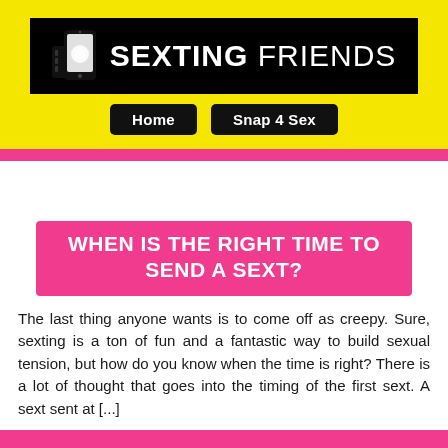[Figure (logo): Sexting Friends website logo — black banner with white bold text 'SEXTING FRIENDS' and a hand holding a smartphone icon, on yellow background]
Home   Snap 4 Sex
WHEN IS THE RIGHT TIME TO SEND A SEXT?
The last thing anyone wants is to come off as creepy. Sure, sexting is a ton of fun and a fantastic way to build sexual tension, but how do you know when the time is right? There is a lot of thought that goes into the timing of the first sext. A sext sent at [...]